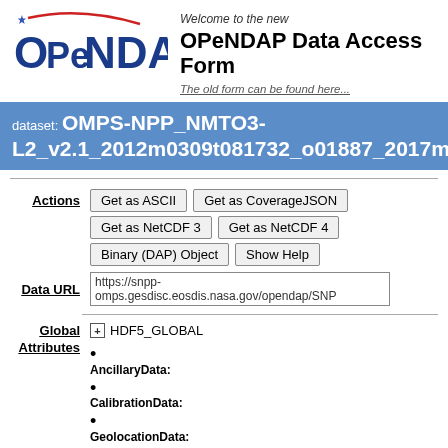[Figure (logo): OPeNDAP logo with star and red arc curve above blue text OPeNDAP]
Welcome to the new
OPeNDAP Data Access Form
The old form can be found here...
dataset: OMPS-NPP_NMTO3-L2_v2.1_2012m0309t081732_o01887_2017m0...
Actions
Get as ASCII | Get as CoverageJSON | Get as NetCDF 3 | Get as NetCDF 4 | Binary (DAP) Object | Show Help
Data URL
https://snpp-omps.gesdisc.eosdis.nasa.gov/opendap/SNP
Global Attributes
HDF5_GLOBAL
AncillaryData:
CalibrationData:
GeolocationData:
ScienceData: